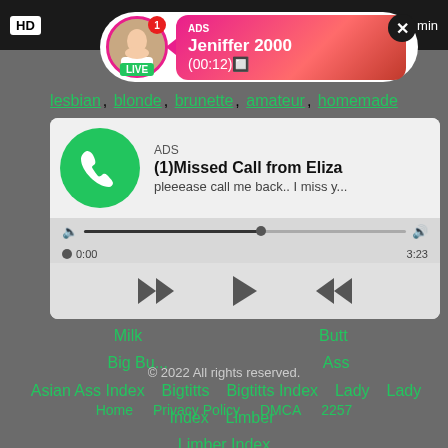[Figure (screenshot): Live notification popup with avatar, LIVE badge, ADS label, name Jeniffer 2000, time (00:12), close button, HD badge, min text]
lesbian, blonde, brunette, amateur, homemade
[Figure (screenshot): Audio player ad showing missed call from Eliza with phone icon, progress bar, playback controls (rewind, play, fast forward), time 0:00 to 3:23]
No Con... Index Milk Butt Big Bu... Ass Asian Ass Index Bigtitts Bigtitts Index Lady Lady Index Limber Limber Index
© 2022 All rights reserved.
Home Privacy Policy DMCA 2257